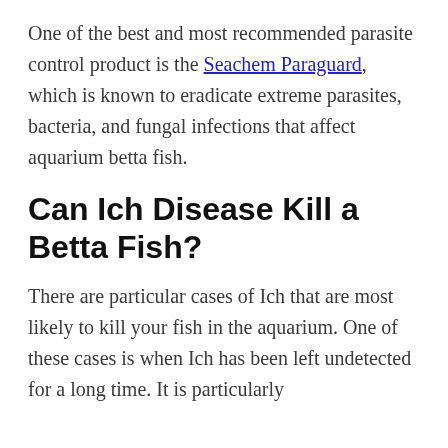One of the best and most recommended parasite control product is the Seachem Paraguard, which is known to eradicate extreme parasites, bacteria, and fungal infections that affect aquarium betta fish.
Can Ich Disease Kill a Betta Fish?
There are particular cases of Ich that are most likely to kill your fish in the aquarium. One of these cases is when Ich has been left undetected for a long time. It is particularly